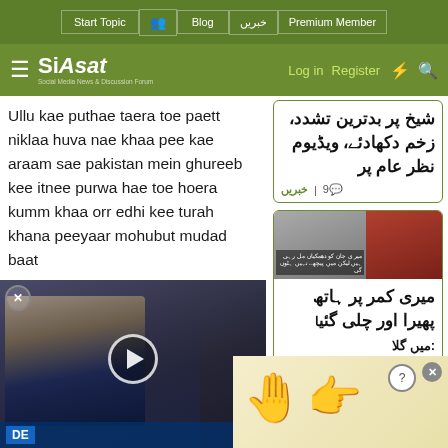Siasat.pk - Start Topic | Blog | خبریں | Premium Member | Log in | Register
Ullu kae puthae taera toe paett niklaa huva nae khaa pee kae araam sae pakistan mein ghureeb kee itnee purwa hae toe hoera kumm khaa orr edhi kee turah khana peeyaar mohubut mudad baat
jinnkaa ghurr nahee hae yaa burbaad hoechuka hae unsae poochoe palestine kurdish loage iraq libya syria kashmiris rohinghas chechens afghanis etc
[Figure (screenshot): News card in Urdu: شیخ پر بدترین تشدد، زخم دکھادئے، ویڈیوم نظر عام پر with 9 comments, خبریں tag]
[Figure (screenshot): News card with image of people and Urdu text: میری کمر پر ہاتھ پھیرا اور چلی گئی]
[Figure (screenshot): Video overlay showing man in suit being interviewed, with play button, close button, DE badge at bottom]
[Figure (screenshot): Advertisement overlay with yellow hand/pointer emoji, question mark circle, and X close button]